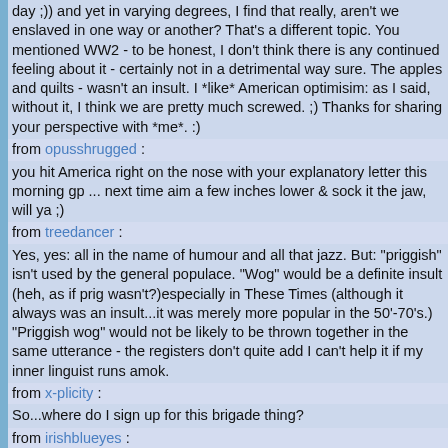day ;)) and yet in varying degrees, I find that really, aren't we enslaved in one way or another? That's a different topic. You mentioned WW2 - to be honest, I don't think there is any continued feeling about it - certainly not in a detrimental way sure. The apples and quilts - wasn't an insult. I *like* American optimisim: as I said, without it, I think we are pretty much screwed. ;) Thanks for sharing your perspective with *me*. :)
from opusshrugged :
you hit America right on the nose with your explanatory letter this morning gp ... next time aim a few inches lower & sock it the jaw, will ya ;)
from treedancer :
Yes, yes: all in the name of humour and all that jazz. But: "priggish" isn't used by the general populace. "Wog" would be a definite insult (heh, as if prig wasn't?)especially in These Times (although it always was an insult...it was merely more popular in the 50'-70's.) "Priggish wog" would not be likely to be thrown together in the same utterance - the registers don't quite add I can't help it if my inner linguist runs amok.
from x-plicity :
So...where do I sign up for this brigade thing?
from irishblueyes :
Uh..in case you haven't heard that was bronze star, a silver star and 3 PURPLE HEARTS! (that's husband and mine's joke now